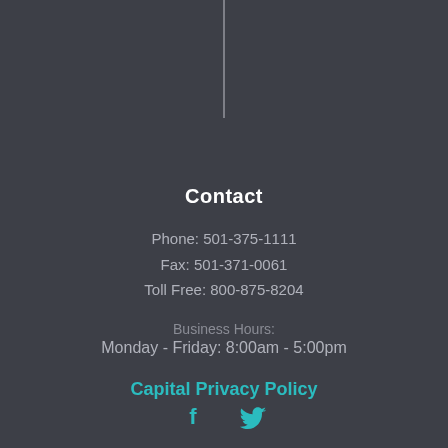[Figure (other): Vertical white line divider at top center of page]
Contact
Phone: 501-375-1111
Fax: 501-371-0061
Toll Free: 800-875-8204
Business Hours:
Monday - Friday: 8:00am - 5:00pm
Capital Privacy Policy
[Figure (other): Facebook and Twitter social media icons at bottom center]